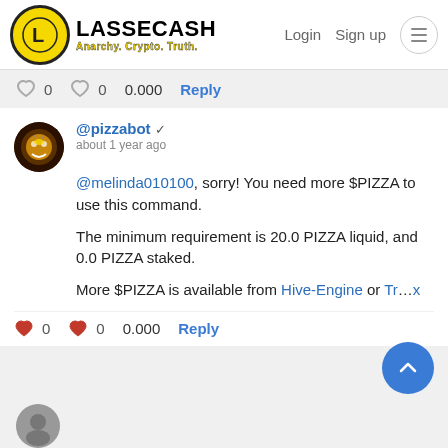LASSECASH — Anarchy. Crypto. Truth. | Login | Sign up
♥ 0   ♥ 0   0.000   Reply
@pizzabot ✓
about 1 year ago
@melinda010100, sorry! You need more $PIZZA to use this command.

The minimum requirement is 20.0 PIZZA liquid, and 0.0 PIZZA staked.

More $PIZZA is available from Hive-Engine or Tr...x
♥ 0   ♥ 0   0.000   Reply